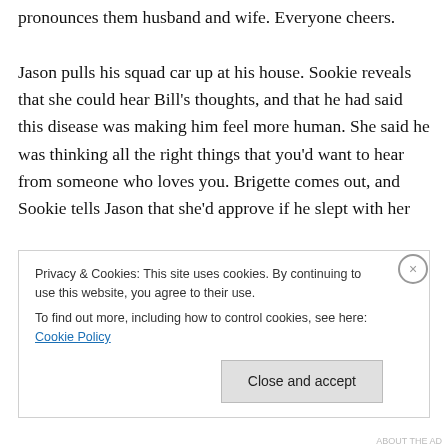pronounces them husband and wife.  Everyone cheers.
Jason pulls his squad car up at his house.  Sookie reveals that she could hear Bill's thoughts, and that he had said this disease was making him feel more human. She said he was thinking all the right things that you'd want to hear from someone who loves you.  Brigette comes out, and Sookie tells Jason that she'd approve if he slept with her
Privacy & Cookies: This site uses cookies. By continuing to use this website, you agree to their use.
To find out more, including how to control cookies, see here: Cookie Policy
Close and accept